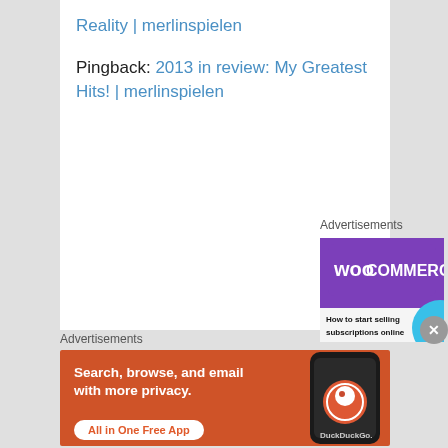Reality | merlinspielen
Pingback: 2013 in review: My Greatest Hits! | merlinspielen
Advertisements
[Figure (screenshot): WooCommerce advertisement: How to start selling subscriptions online]
Advertisements
[Figure (screenshot): DuckDuckGo advertisement: Search, browse, and email with more privacy. All in One Free App]